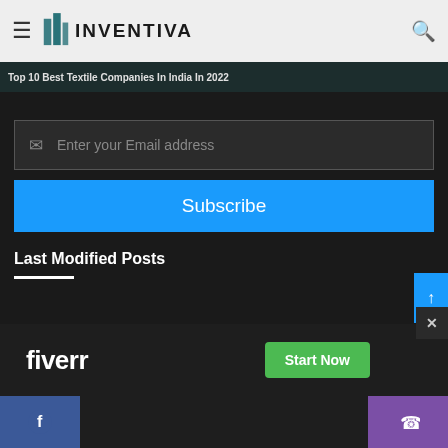Top 10 Best Artificial Intelligence (AI) Companies of India in 2022
[Figure (logo): Inventiva logo with stylized building icon and INVENTIVA text]
Top 10 Best Textile Companies In India In 2022
Enter your Email address
Subscribe
Last Modified Posts
[Figure (screenshot): Fiverr advertisement banner with Start Now button]
[Figure (infographic): Social bar with Facebook icon (blue) and phone icon (purple)]